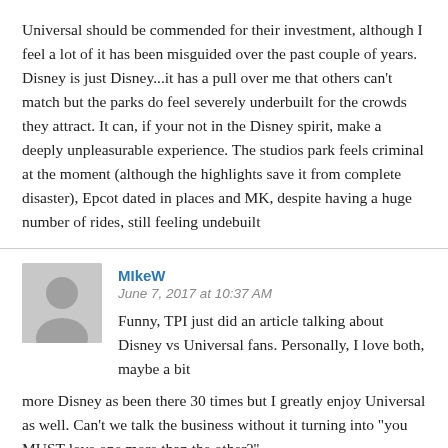Universal should be commended for their investment, although I feel a lot of it has been misguided over the past couple of years. Disney is just Disney...it has a pull over me that others can't match but the parks do feel severely underbuilt for the crowds they attract. It can, if your not in the Disney spirit, make a deeply unpleasurable experience. The studios park feels criminal at the moment (although the highlights save it from complete disaster), Epcot dated in places and MK, despite having a huge number of rides, still feeling undebuilt
MIkeW
June 7, 2017 at 10:37 AM
Funny, TPI just did an article talking about Disney vs Universal fans. Personally, I love both, maybe a bit more Disney as been there 30 times but I greatly enjoy Universal as well. Can't we talk the business without it turning into "you MUST love one more than the other?"